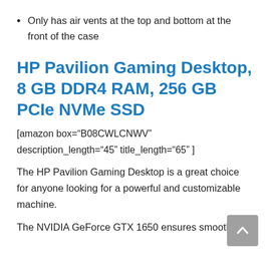Only has air vents at the top and bottom at the front of the case
HP Pavilion Gaming Desktop, 8 GB DDR4 RAM, 256 GB PCIe NVMe SSD
[amazon box="B08CWLCNWV" description_length="45" title_length="65" ]
The HP Pavilion Gaming Desktop is a great choice for anyone looking for a powerful and customizable machine.
The NVIDIA GeForce GTX 1650 ensures smooth